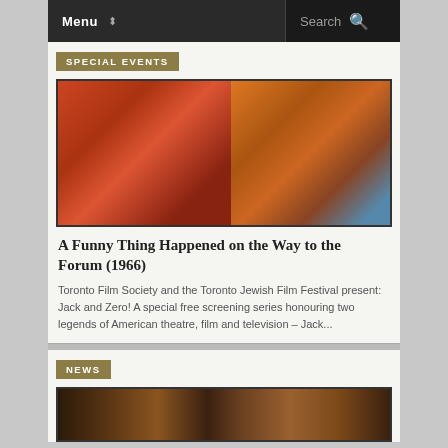Menu  Search
SPECIAL EVENTS
[Figure (photo): Two men in Roman costume from A Funny Thing Happened on the Way to the Forum (1966). The man on the left wears a red beret and has a comic wide-eyed expression, holding his chin. The man on the right wears an orange tunic and has a dour expression.]
A Funny Thing Happened on the Way to the Forum (1966)
Toronto Film Society and the Toronto Jewish Film Festival present: Jack and Zero! A special free screening series honouring two legends of American theatre, film and television – Jack...
NEWS
[Figure (photo): Partial image of what appears to be dark brown sculptural or theatrical objects, partially visible at the bottom of the page.]